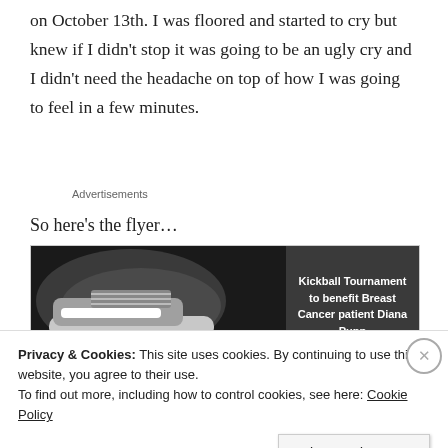on October 13th. I was floored and started to cry but knew if I didn't stop it was going to be an ugly cry and I didn't need the headache on top of how I was going to feel in a few minutes.
Advertisements
So here's the flyer…
[Figure (photo): A flyer image showing a kickball shoe on a dark background on the left and text on the right reading 'Kickball Tournament to benefit Breast Cancer patient Diana Pupp']
Privacy & Cookies: This site uses cookies. By continuing to use this website, you agree to their use.
To find out more, including how to control cookies, see here: Cookie Policy
Close and accept